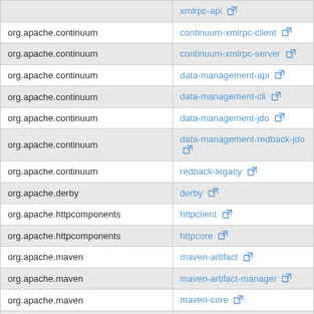| Group ID | Artifact ID |
| --- | --- |
|  | xmlrpc-api |
| org.apache.continuum | continuum-xmlrpc-client |
| org.apache.continuum | continuum-xmlrpc-server |
| org.apache.continuum | data-management-api |
| org.apache.continuum | data-management-cli |
| org.apache.continuum | data-management-jdo |
| org.apache.continuum | data-management-redback-jdo |
| org.apache.continuum | redback-legacy |
| org.apache.derby | derby |
| org.apache.httpcomponents | httpclient |
| org.apache.httpcomponents | httpcore |
| org.apache.maven | maven-artifact |
| org.apache.maven | maven-artifact-manager |
| org.apache.maven | maven-core |
| org.apache.maven | maven-model |